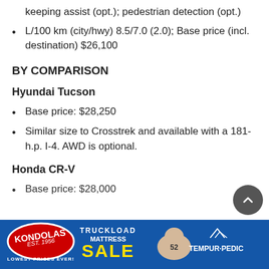keeping assist (opt.); pedestrian detection (opt.)
L/100 km (city/hwy) 8.5/7.0 (2.0); Base price (incl. destination) $26,100
BY COMPARISON
Hyundai Tucson
Base price: $28,250
Similar size to Crosstrek and available with a 181-h.p. I-4. AWD is optional.
Honda CR-V
Base price: $28,000
[Figure (infographic): Kondolas Truckload Mattress Sale advertisement banner featuring Kondolas logo, SALE text in yellow, a baby sleeping on mattress, and Tempur-Pedic branding]